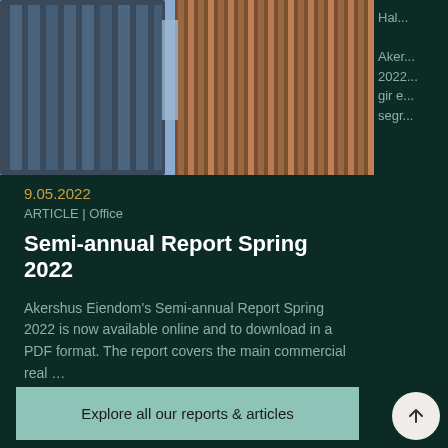[Figure (photo): Looking-up perspective photo of modern office building facades with copper/bronze vertical slats against a blue sky]
9.05.2022
ARTICLE | Office
Semi-annual Report Spring 2022
Akershus Eiendom's Semi-annual Report Spring 2022 is now available online and to download in a PDF format. The report covers the main commercial real …
Explore all our reports & articles